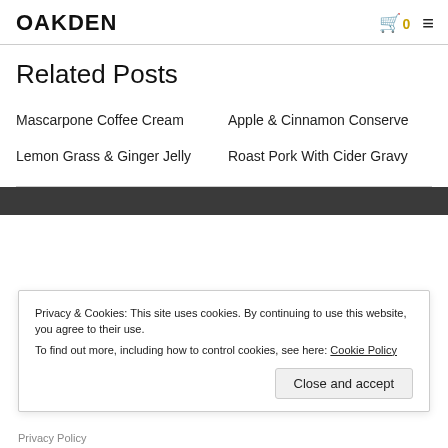OAKDEN
Related Posts
Mascarpone Coffee Cream
Apple & Cinnamon Conserve
Lemon Grass & Ginger Jelly
Roast Pork With Cider Gravy
Privacy & Cookies: This site uses cookies. By continuing to use this website, you agree to their use.
To find out more, including how to control cookies, see here: Cookie Policy
Close and accept
Privacy Policy